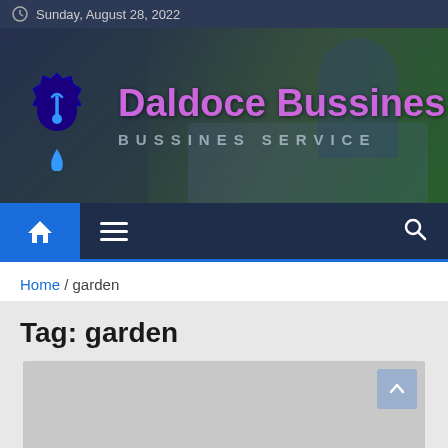Sunday, August 28, 2022
[Figure (screenshot): Daldoce Bussines website banner with gear logo and tagline BUSSINES SERVICE over a dark blue background with a person working at a laptop]
[Figure (screenshot): Navigation bar with home icon button (blue), hamburger menu icon, and search icon on dark navy background]
Home / garden
Tag: garden
[Figure (screenshot): Article card placeholder image (gray rectangle) with a blue scroll-to-top arrow button in the top-right corner]